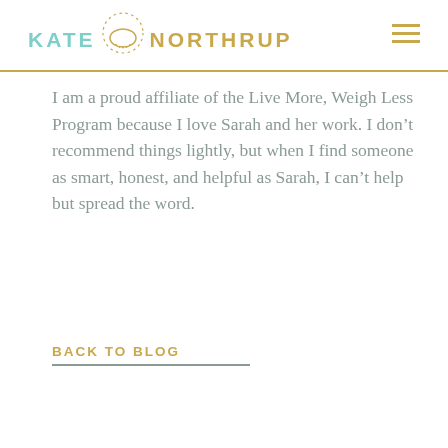KATE NORTHRUP
I am a proud affiliate of the Live More, Weigh Less Program because I love Sarah and her work. I don’t recommend things lightly, but when I find someone as smart, honest, and helpful as Sarah, I can’t help but spread the word.
BACK TO BLOG